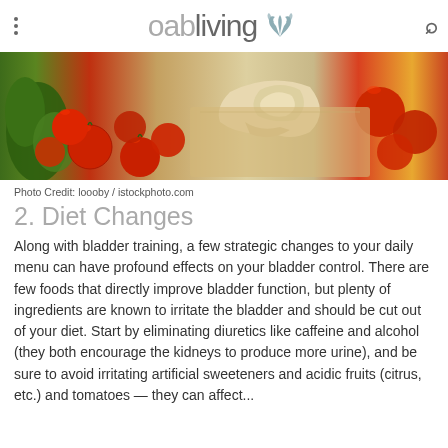oabliving
[Figure (photo): Close-up food photo showing cherry tomatoes, fresh herbs/greens, and sliced mushrooms on a wooden cutting board with a warm background]
Photo Credit: loooby / istockphoto.com
2. Diet Changes
Along with bladder training, a few strategic changes to your daily menu can have profound effects on your bladder control. There are few foods that directly improve bladder function, but plenty of ingredients are known to irritate the bladder and should be cut out of your diet. Start by eliminating diuretics like caffeine and alcohol (they both encourage the kidneys to produce more urine), and be sure to avoid irritating artificial sweeteners and acidic fruits (citrus, etc.) and tomatoes — they can affect...